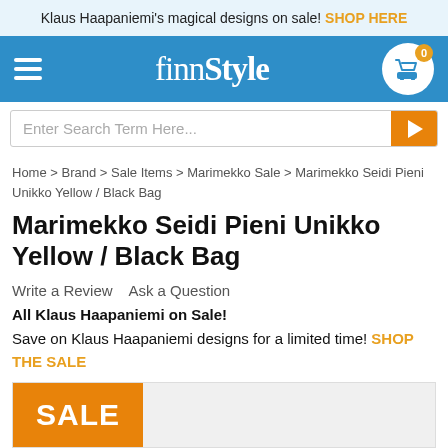Klaus Haapaniemi's magical designs on sale! SHOP HERE
[Figure (screenshot): FinnStyle website navigation bar with hamburger menu, FinnStyle logo, and shopping cart icon with 0 items badge]
Enter Search Term Here...
Home > Brand > Sale Items > Marimekko Sale > Marimekko Seidi Pieni Unikko Yellow / Black Bag
Marimekko Seidi Pieni Unikko Yellow / Black Bag
Write a Review   Ask a Question
All Klaus Haapaniemi on Sale!
Save on Klaus Haapaniemi designs for a limited time! SHOP THE SALE
[Figure (other): SALE badge in orange with product image placeholder]